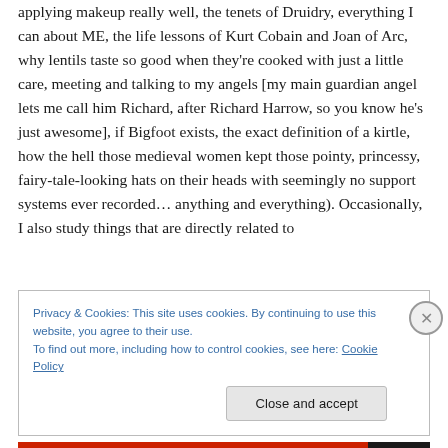applying makeup really well, the tenets of Druidry, everything I can about ME, the life lessons of Kurt Cobain and Joan of Arc, why lentils taste so good when they're cooked with just a little care, meeting and talking to my angels [my main guardian angel lets me call him Richard, after Richard Harrow, so you know he's just awesome], if Bigfoot exists, the exact definition of a kirtle, how the hell those medieval women kept those pointy, princessy, fairy-tale-looking hats on their heads with seemingly no support systems ever recorded… anything and everything). Occasionally, I also study things that are directly related to
Privacy & Cookies: This site uses cookies. By continuing to use this website, you agree to their use.
To find out more, including how to control cookies, see here: Cookie Policy
Close and accept